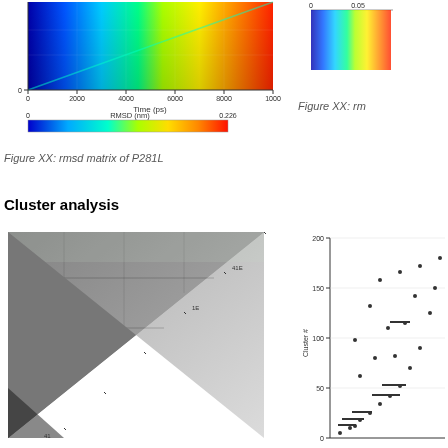[Figure (continuous-plot): RMSD matrix heatmap of P281L showing time (ps) on x-axis from 0 to 1000 (labeled 0,2000,4000,6000,8000,1000 — likely 10000), y-axis from 0, color scale from blue (0) to red (0.226 nm). Colorbar legend below showing RMSD (nm) scale 0 to 0.226.]
Figure XX: rmsd matrix of P281L
[Figure (continuous-plot): Partial view of another RMSD or related matrix figure on the right side, partially cut off. Shows axis ticks 0 and 0.05 visible at top.]
Figure XX: rm...
Cluster analysis
[Figure (other): Lower-triangular grayscale matrix image for cluster analysis, showing pairwise distances or similarities. Dark gray tones throughout with lighter patches indicating structure. Tick marks visible along diagonal edge.]
[Figure (scatter-plot): Partially visible scatter plot on right side showing Cluster # on y-axis (0 to 200, ticks at 50, 100, 150, 200) with scattered data points at various cluster numbers.]